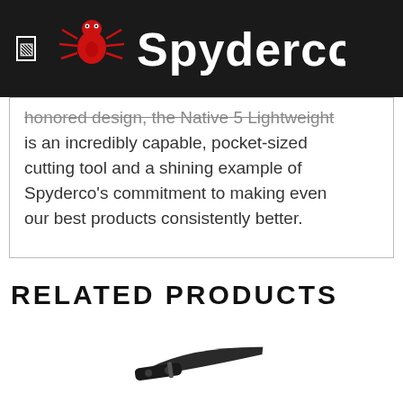Spyderco
honored design, the Native 5 Lightweight is an incredibly capable, pocket-sized cutting tool and a shining example of Spyderco's commitment to making even our best products consistently better.
RELATED PRODUCTS
[Figure (photo): A folded black pocket knife shown diagonally]